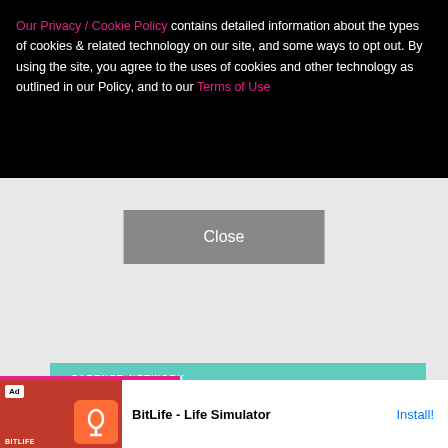Our Privacy / Cookie Policy contains detailed information about the types of cookies & related technology on our site, and some ways to opt out. By using the site, you agree to the uses of cookies and other technology as outlined in our Policy, and to our Terms of Use
Close
PARTNER NETWORK
Earning site & social revenue
Traffic growth
Speaking on our stages
LEARN MORE
[Figure (screenshot): Mobile advertisement bar showing BitLife - Life Simulator app with Install button]
BitLife - Life Simulator
Install!